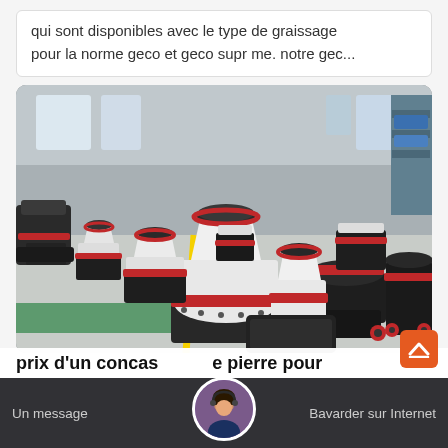qui sont disponibles avec le type de graissage pour la norme geco et geco supr me. notre gec...
[Figure (photo): Industrial warehouse/factory floor with multiple white and red cone crusher machines arranged in rows on a grey epoxy floor with yellow and green striping.]
prix d'un concasseur de pierre pour
Un message   Bavarder sur Internet